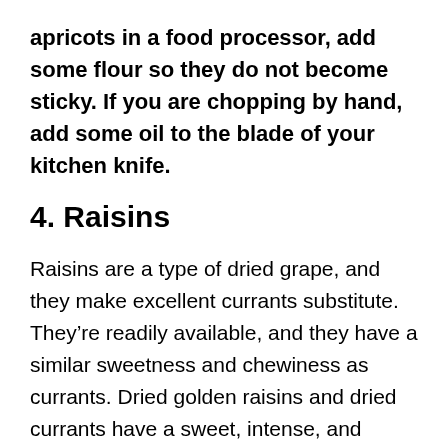apricots in a food processor, add some flour so they do not become sticky. If you are chopping by hand, add some oil to the blade of your kitchen knife.
4. Raisins
Raisins are a type of dried grape, and they make excellent currants substitute. They’re readily available, and they have a similar sweetness and chewiness as currants. Dried golden raisins and dried currants have a sweet, intense, and tangy flavor.